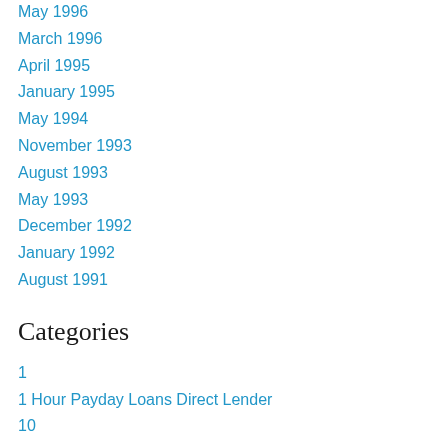May 1996
March 1996
April 1995
January 1995
May 1994
November 1993
August 1993
May 1993
December 1992
January 1992
August 1991
Categories
1
1 Hour Payday Loans Direct Lender
10